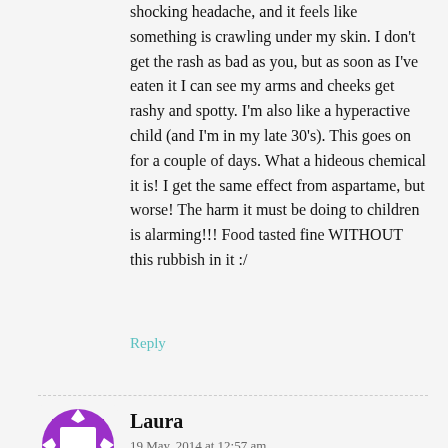shocking headache, and it feels like something is crawling under my skin. I don't get the rash as bad as you, but as soon as I've eaten it I can see my arms and cheeks get rashy and spotty. I'm also like a hyperactive child (and I'm in my late 30's). This goes on for a couple of days. What a hideous chemical it is! I get the same effect from aspartame, but worse! The harm it must be doing to children is alarming!!! Food tasted fine WITHOUT this rubbish in it :/
Reply
[Figure (illustration): Purple avatar icon — a square with diamond shapes on each side, forming a decorative border pattern in purple and white]
Laura
19 May, 2014 at 12:57 am
Thank you for this information! I